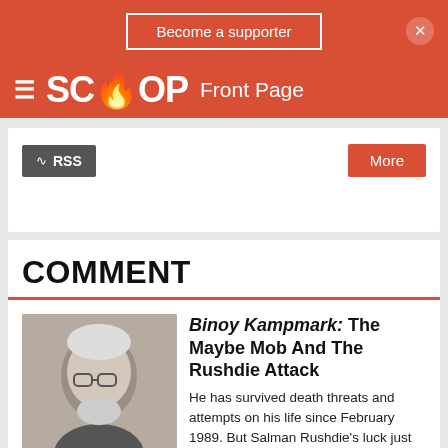Become a supporter
SCOOP Front Page
RSS  More
COMMENT
Binoy Kampmark: The Maybe Mob And The Rushdie Attack
He has survived death threats and attempts on his life since February 1989. But Salman Rushdie's luck just about ran out at the Chautauqua Institution, southwest of Buffalo in New York State. On August 12, at a venue historically celebrated for bringing